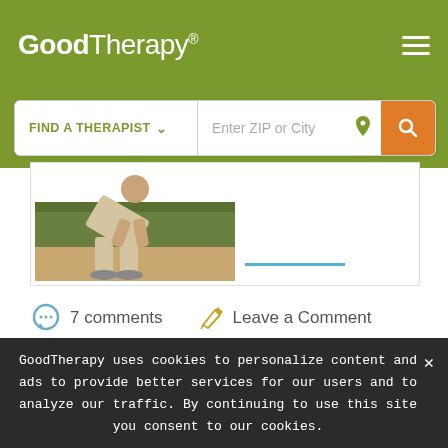GoodTherapy®
FIND A THERAPIST  Enter ZIP or City
[Figure (photo): Person seated on couch, bending forward]
7 comments   Leave a Comment
[Figure (photo): Broken image placeholder for commenter avatar]
Lee
August 16th, 2016 at 7:02 AM
GoodTherapy uses cookies to personalize content and ads to provide better services for our users and to analyze our traffic. By continuing to use this site you consent to our cookies.